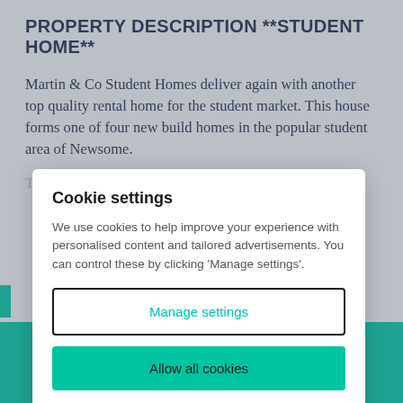PROPERTY DESCRIPTION **STUDENT HOME**
Martin & Co Student Homes deliver again with another top quality rental home for the student market. This house forms one of four new build homes in the popular student area of Newsome.
The house could ideally be rented for...
Cookie settings
We use cookies to help improve your experience with personalised content and tailored advertisements. You can control these by clicking 'Manage settings'.
Manage settings
Allow all cookies